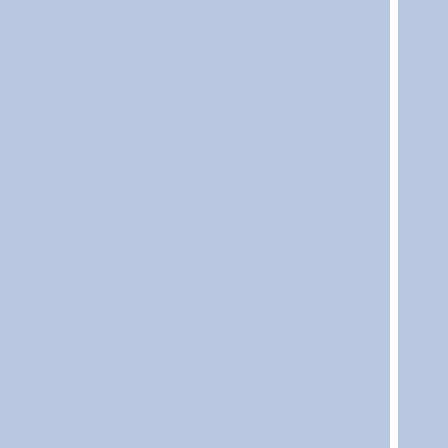[Figure (other): Index/navigation panel on the right side showing alphabetical index entries starting with N, M, O, P, P, P, P, P, R, R, R, R, R, S, S in blue italic text against a light gray background, with blue-tinted area columns on the left separated by a white vertical divider.]